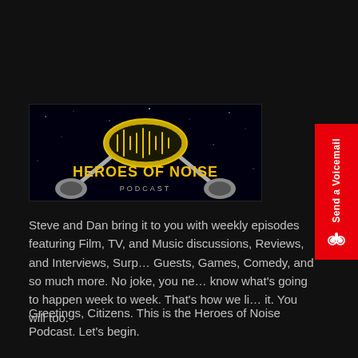[Figure (logo): Heroes of Noise Podcast logo on black background with stylized text and lightning bolt/sound wave graphic]
Steve and Dan bring it to you with weekly episodes featuring Film, TV, and Music discussions, Reviews, and Interviews, Surprise Guests, Games, Comedy, and so much more. No joke, you never know what's going to happen week to week. That's how we like it. You will too.
Greetings, Citizens. This is the Heroes of Noise Podcast. Let's begin.